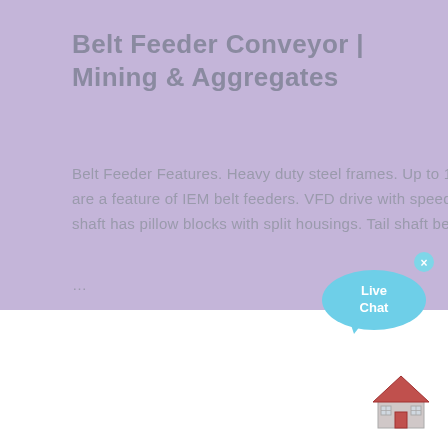Belt Feeder Conveyor | Mining & Aggregates
Belt Feeder Features. Heavy duty steel frames. Up to 108" (2740 mm) wide belts. Reliability and ease of maintenance are a feature of IEM belt feeders. VFD drive with speed reducers or Hagglunds shaft-mounted hydraulic drive. Head shaft has pillow blocks with split housings. Tail shaft bearings, adapter sleeves, and Taconite seals are mounted in ...
[Figure (illustration): Live Chat speech bubble widget with cyan/light blue color, showing 'Live Chat' text and a close (x) button in the upper right corner]
[Figure (illustration): House/home icon illustration with red roof and door, grey walls and windows]